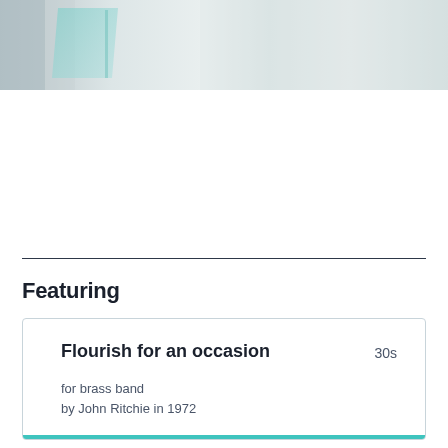[Figure (photo): Blurred abstract background photo with light grey, white and teal tones, showing a partial view of what appears to be a document or book cover.]
Featuring
Flourish for an occasion    30s
for brass band
by John Ritchie in 1972